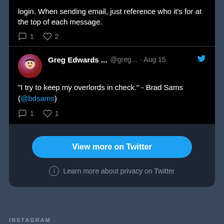login. When sending email, just reference who it's for at the top of each message.
1  2
Greg Edwards ... @greg... · Aug 15
"I try to keep my overlords in check." - Brad Sams (@bdsams)
1  1
View more on Twitter
Learn more about privacy on Twitter
INSTAGRAM
[Figure (photo): Instagram thumbnail images partially visible at bottom]